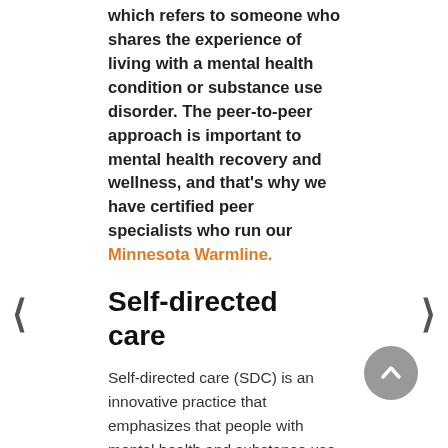which refers to someone who shares the experience of living with a mental health condition or substance use disorder. The peer-to-peer approach is important to mental health recovery and wellness, and that's why we have certified peer specialists who run our Minnesota Warmline.
Self-directed care
Self-directed care (SDC) is an innovative practice that emphasizes that people with mental health and substance use conditions should have decision-making authority over the services they receive. Individuals are encouraged to take direct responsibility to manage their care, including determining their own needs, deciding how those needs are met, and continuously evaluating the services.
The way people talk about and experience mental health is uniquely shaped by their racial/ethnic